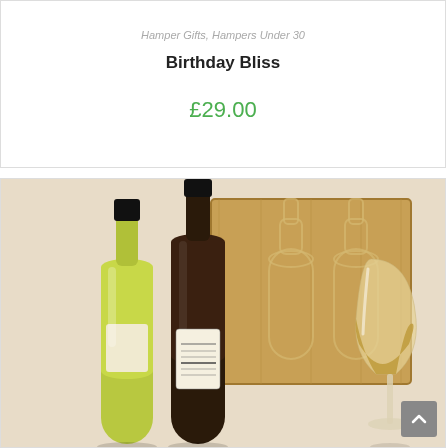Hamper Gifts, Hampers Under 30
Birthday Bliss
£29.00
More Info
[Figure (photo): Two wine bottles (one white, one red) with a wooden gift box and a wine glass containing white wine, presented as a hamper gift product.]